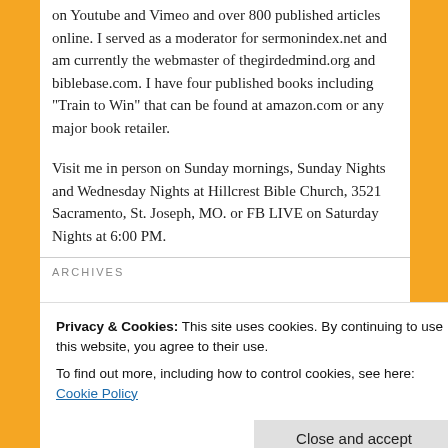on Youtube and Vimeo and over 800 published articles online. I served as a moderator for sermonindex.net and am currently the webmaster of thegirdedmind.org and biblebase.com. I have four published books including "Train to Win" that can be found at amazon.com or any major book retailer.
Visit me in person on Sunday mornings, Sunday Nights and Wednesday Nights at Hillcrest Bible Church, 3521 Sacramento, St. Joseph, MO. or FB LIVE on Saturday Nights at 6:00 PM.
ARCHIVES
Privacy & Cookies: This site uses cookies. By continuing to use this website, you agree to their use.
To find out more, including how to control cookies, see here: Cookie Policy
» February 2022 (1)